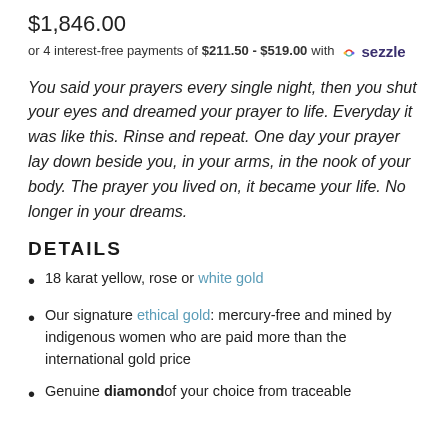$1,846.00
or 4 interest-free payments of $211.50 - $519.00 with sezzle
You said your prayers every single night, then you shut your eyes and dreamed your prayer to life. Everyday it was like this. Rinse and repeat. One day your prayer lay down beside you, in your arms, in the nook of your body. The prayer you lived on, it became your life. No longer in your dreams.
DETAILS
18 karat yellow, rose or white gold
Our signature ethical gold: mercury-free and mined by indigenous women who are paid more than the international gold price
Genuine diamond of your choice from traceable